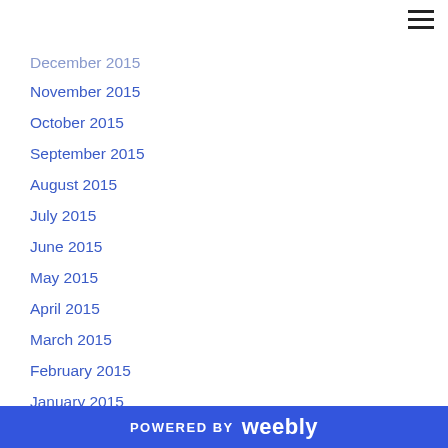December 2015 (partial, cut off)
November 2015
October 2015
September 2015
August 2015
July 2015
June 2015
May 2015
April 2015
March 2015
February 2015
January 2015
December 2014
November 2014
October 2014
POWERED BY weebly